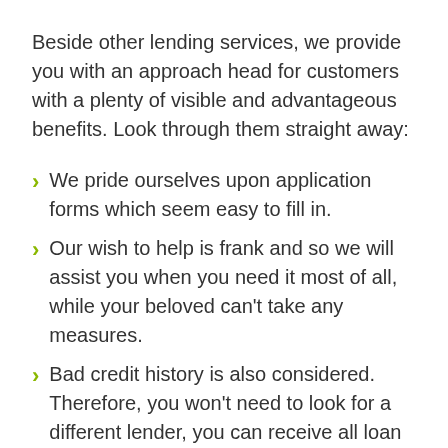Beside other lending services, we provide you with an approach head for customers with a plenty of visible and advantageous benefits. Look through them straight away:
We pride ourselves upon application forms which seem easy to fill in.
Our wish to help is frank and so we will assist you when you need it most of all, while your beloved can't take any measures.
Bad credit history is also considered. Therefore, you won't need to look for a different lender, you can receive all loan kinds here.
We offer you real money which you may get this moment.